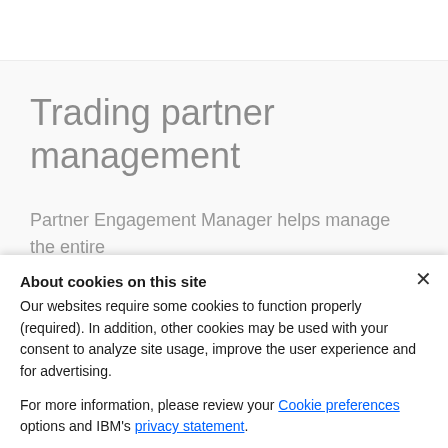Trading partner management
Partner Engagement Manager helps manage the entire trading partner...
About cookies on this site
Our websites require some cookies to function properly (required). In addition, other cookies may be used with your consent to analyze site usage, improve the user experience and for advertising.
For more information, please review your Cookie preferences options and IBM's privacy statement.